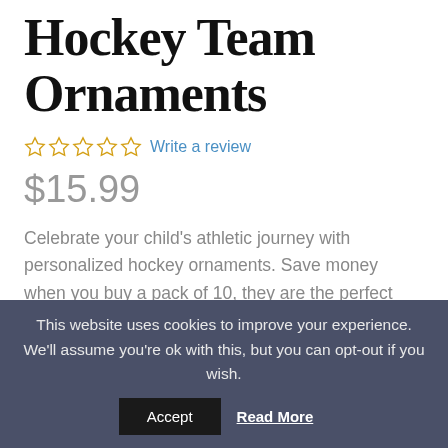Hockey Team Ornaments
☆☆☆☆☆ Write a review
$15.99
Celebrate your child's athletic journey with personalized hockey ornaments.  Save money when you buy a pack of 10, they are the perfect “thank you” gift for coaches, or the whole team.
This website uses cookies to improve your experience. We'll assume you're ok with this, but you can opt-out if you wish. Accept Read More